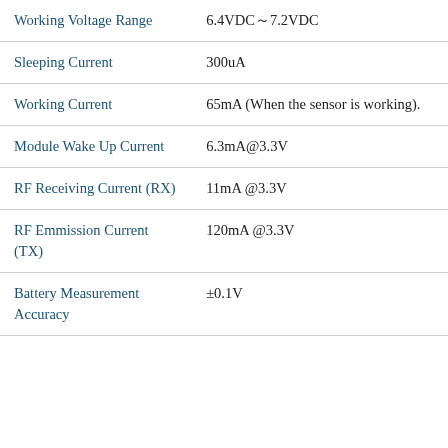| Parameter | Value |
| --- | --- |
| Working Voltage Range | 6.4VDC～7.2VDC |
| Sleeping Current | 300uA |
| Working Current | 65mA (When the sensor is working). |
| Module Wake Up Current | 6.3mA@3.3V |
| RF Receiving Current (RX) | 11mA @3.3V |
| RF Emmission Current (TX) | 120mA @3.3V |
| Battery Measurement Accuracy | ±0.1V |